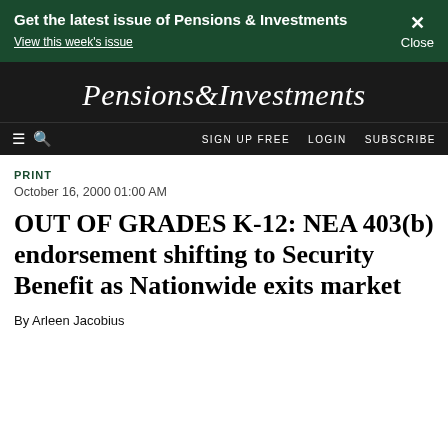Get the latest issue of Pensions & Investments
View this week's issue
[Figure (logo): Pensions&Investments logo in white italic serif font on black background]
≡ Q   SIGN UP FREE   LOGIN   SUBSCRIBE
PRINT
October 16, 2000 01:00 AM
OUT OF GRADES K-12: NEA 403(b) endorsement shifting to Security Benefit as Nationwide exits market
By Arleen Jacobius